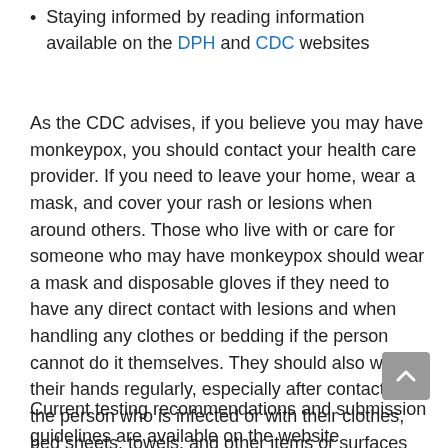Staying informed by reading information available on the DPH and CDC websites
As the CDC advises, if you believe you may have monkeypox, you should contact your health care provider. If you need to leave your home, wear a mask, and cover your rash or lesions when around others. Those who live with or care for someone who may have monkeypox should wear a mask and disposable gloves if they need to have any direct contact with lesions and when handling any clothes or bedding if the person cannot do it themselves. They should also wash their hands regularly, especially after contact with the person who is infected or with their clothes, bed sheets, towels, and other items or surfaces they may have touched.
Current testing recommendations and submission guidelines are available on the website